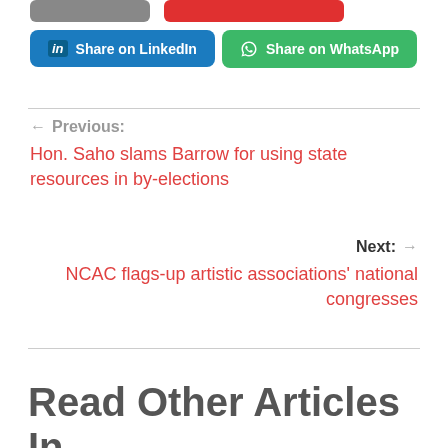[Figure (other): Two partially visible social share buttons at top: a gray button and a red button (cropped)]
Share on LinkedIn
Share on WhatsApp
← Previous:
Hon. Saho slams Barrow for using state resources in by-elections
Next: →
NCAC flags-up artistic associations' national congresses
Read Other Articles In